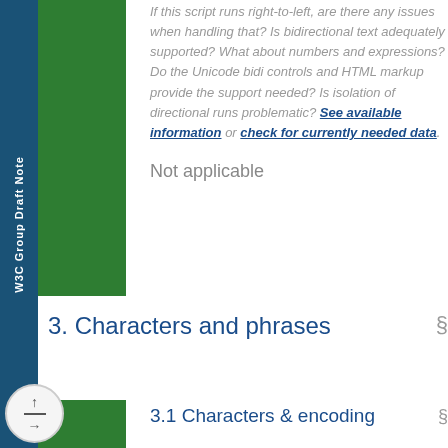If this script runs right-to-left, are there any issues when handling that? Is bidirectional text adequately supported? What about numbers and expressions? Do the Unicode bidi controls and HTML markup provide the support needed? Is isolation of directional runs problematic? See available information or check for currently needed data.
Not applicable
3. Characters and phrases §
3.1 Characters & encoding §